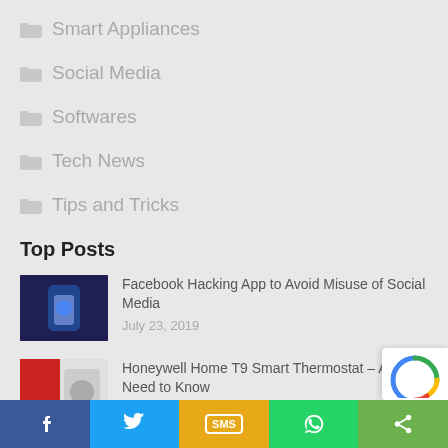Smart Appliances
Social Media
Softwares
Tech News
Tips and Tricks
Top Posts
[Figure (photo): Thumbnail of a hand holding a smartphone with blue screen]
Facebook Hacking App to Avoid Misuse of Social Media
July 23, 2019
[Figure (photo): Thumbnail of Honeywell Home T9 thermostat product image with red and white colors]
Honeywell Home T9 Smart Thermostat – All You Need to Know
June 25, 2022